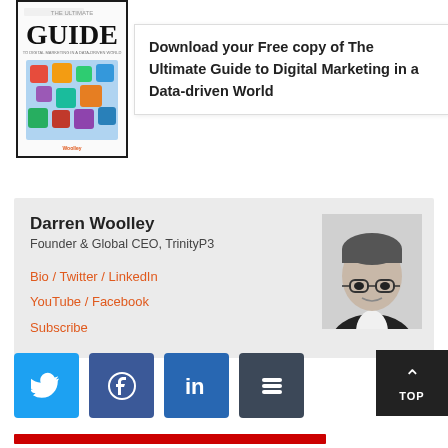[Figure (illustration): Book cover: THE ULTIMATE GUIDE to Digital Marketing in a Data-Driven World with colorful social media icons]
Download your Free copy of The Ultimate Guide to Digital Marketing in a Data-driven World
Darren Woolley
Founder & Global CEO, TrinityP3
Bio / Twitter / LinkedIn
YouTube / Facebook
Subscribe
[Figure (photo): Black and white headshot of Darren Woolley wearing glasses]
[Figure (infographic): Dark button with up arrow and TOP label]
[Figure (infographic): Social share buttons: Twitter (blue), Facebook (blue), LinkedIn (dark blue), Buffer (dark gray)]
[Figure (other): Red horizontal bar at the bottom of the page]